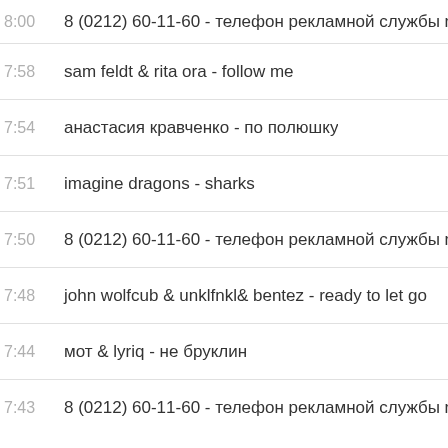8:00  8 (0212) 60-11-60 - телефон рекламной службы radiov
7:58  sam feldt & rita ora - follow me
7:54  анастасия кравченко - по полюшку
7:51  imagine dragons - sharks
7:50  8 (0212) 60-11-60 - телефон рекламной службы radiov
7:48  john wolfcub & unklfnkl& bentez - ready to let go
7:44  мот & lyriq - не бруклин
7:43  8 (0212) 60-11-60 - телефон рекламной службы radiov